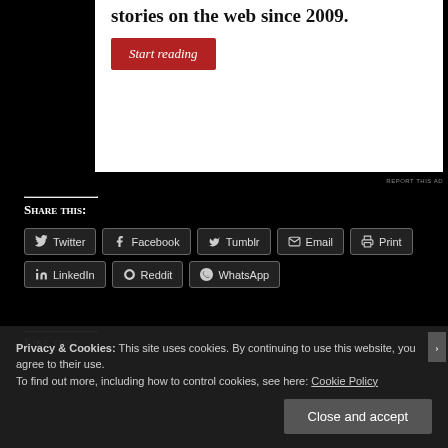stories on the web since 2009.
Start reading
REPORT THIS AD
Share this:
Twitter
Facebook
Tumblr
Email
Print
LinkedIn
Reddit
WhatsApp
Like this:
Privacy & Cookies: This site uses cookies. By continuing to use this website, you agree to their use.
To find out more, including how to control cookies, see here: Cookie Policy
Close and accept